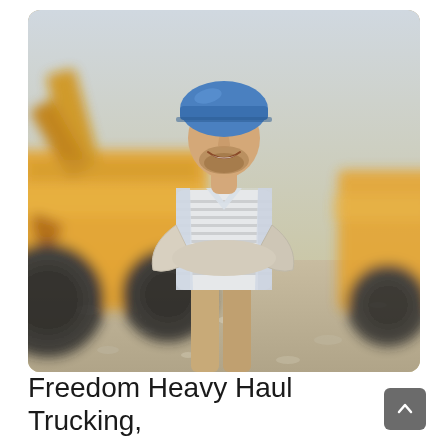[Figure (photo): A smiling man wearing a blue hard hat and a light blue open shirt over a striped shirt, standing with arms crossed in front of a yellow heavy construction vehicle/excavator on a gravel/construction site. He has a beard and appears to be a construction worker or site manager.]
Freedom Heavy Haul Trucking,